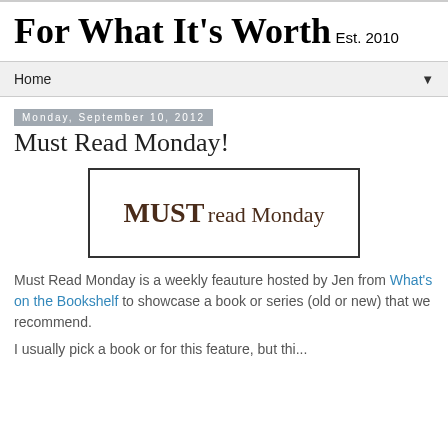For What It's Worth
Est. 2010
Home
Monday, September 10, 2012
Must Read Monday!
[Figure (illustration): Must Read Monday banner image with text 'MUST read Monday' in serif brown font inside a bordered box]
Must Read Monday is a weekly feauture hosted by Jen from What's on the Bookshelf to showcase a book or series (old or new) that we recommend.
I usually pick a book or for this feature, but thi...